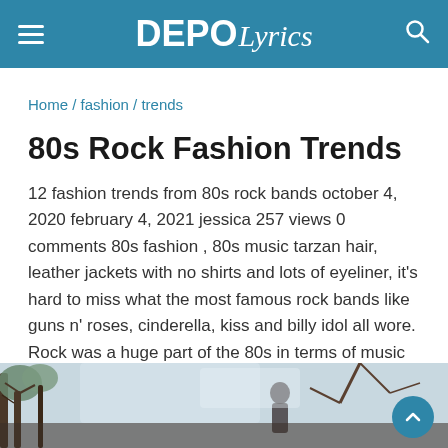DEPO Lyrics — navigation header with hamburger menu and search icon
Home / fashion / trends
80s Rock Fashion Trends
12 fashion trends from 80s rock bands october 4, 2020 february 4, 2021 jessica 257 views 0 comments 80s fashion , 80s music tarzan hair, leather jackets with no shirts and lots of eyeliner, it's hard to miss what the most famous rock bands like guns n' roses, cinderella, kiss and billy idol all wore. Rock was a huge part of the 80s in terms of music and fashion alike.
[Figure (photo): Photo strip at bottom of page showing outdoor scene with trees and a person, partially visible]